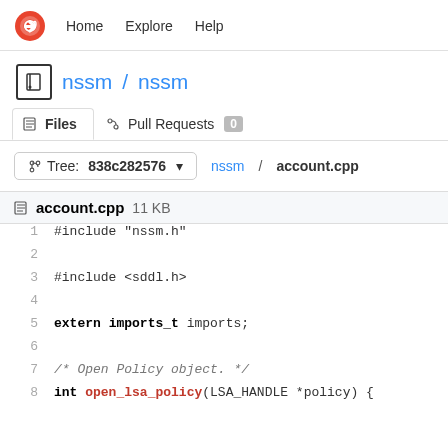Home   Explore   Help
nssm / nssm
Files   Pull Requests 0
Tree: 838c282576   nssm / account.cpp
account.cpp 11 KB
1  #include "nssm.h"
2
3  #include <sddl.h>
4
5  extern imports_t imports;
6
7  /* Open Policy object. */
8  int open_lsa_policy(LSA_HANDLE *policy) {